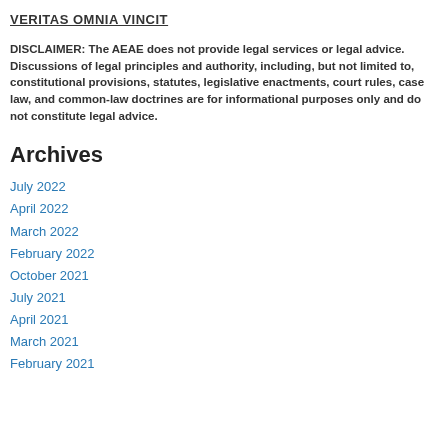VERITAS OMNIA VINCIT
DISCLAIMER: The AEAE does not provide legal services or legal advice. Discussions of legal principles and authority, including, but not limited to, constitutional provisions, statutes, legislative enactments, court rules, case law, and common-law doctrines are for informational purposes only and do not constitute legal advice.
Archives
July 2022
April 2022
March 2022
February 2022
October 2021
July 2021
April 2021
March 2021
February 2021